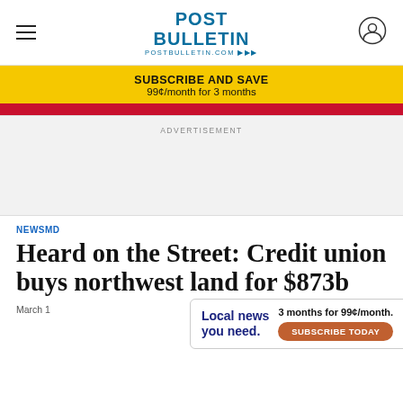POST BULLETIN POSTBULLETIN.COM
SUBSCRIBE AND SAVE 99¢/month for 3 months
ADVERTISEMENT
NEWSMD
Heard on the Street: Credit union buys northwest land for $873b
March 1
Local news you need. 3 months for 99¢/month. SUBSCRIBE TODAY